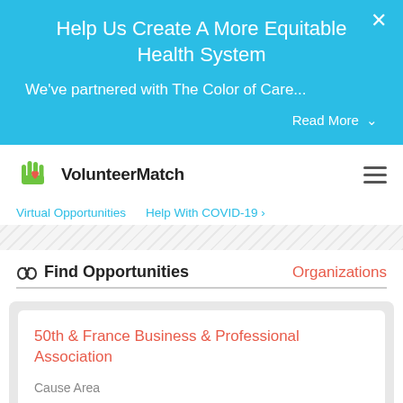Help Us Create A More Equitable Health System
We've partnered with The Color of Care...
Read More
[Figure (logo): VolunteerMatch logo with green hand and red heart icon]
Virtual Opportunities   Help With COVID-19 ›
🔭 Find Opportunities
Organizations
50th & France Business & Professional Association
Cause Area